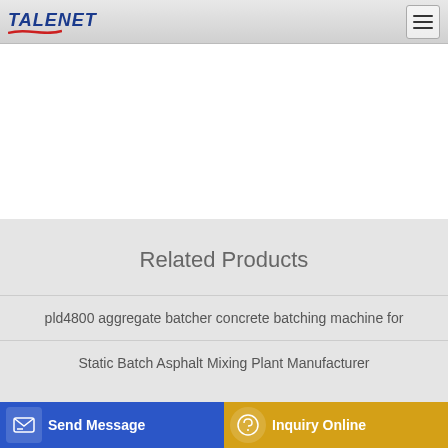TALENET
Related Products
pld4800 aggregate batcher concrete batching machine for
Static Batch Asphalt Mixing Plant Manufacturer
New and used concrete pump trucks from Germany for sale buy on
self loading concrete mixer truck automatic cement mixer feed
Send Message
Inquiry Online